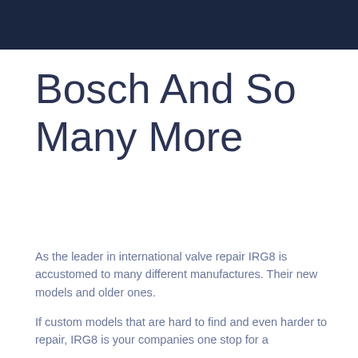Bosch And So Many More
As the leader in international valve repair IRG8 is accustomed to many different manufactures. Their new models and older ones.
If custom models that are hard to find and even harder to repair, IRG8 is your companies one stop for a